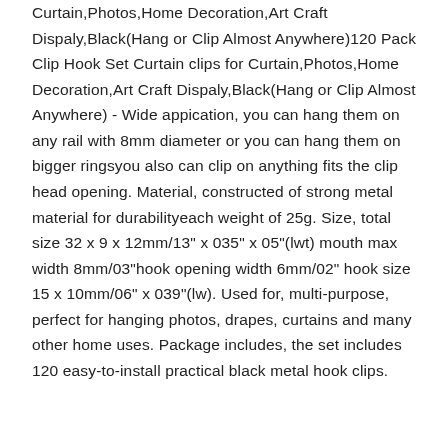Curtain,Photos,Home Decoration,Art Craft Dispaly,Black(Hang or Clip Almost Anywhere)120 Pack Clip Hook Set Curtain clips for Curtain,Photos,Home Decoration,Art Craft Dispaly,Black(Hang or Clip Almost Anywhere) - Wide appication, you can hang them on any rail with 8mm diameter or you can hang them on bigger ringsyou also can clip on anything fits the clip head opening. Material, constructed of strong metal material for durabilityeach weight of 25g. Size, total size 32 x 9 x 12mm/13" x 035" x 05"(lwt) mouth max width 8mm/03"hook opening width 6mm/02" hook size 15 x 10mm/06" x 039"(lw). Used for, multi-purpose, perfect for hanging photos, drapes, curtains and many other home uses. Package includes, the set includes 120 easy-to-install practical black metal hook clips.